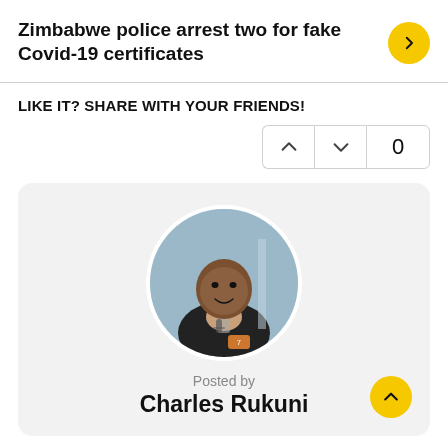Zimbabwe police arrest two for fake Covid-19 certificates
LIKE IT? SHARE WITH YOUR FRIENDS!
[Figure (infographic): Vote buttons: upvote arrow, downvote arrow, and count showing 0]
[Figure (photo): Circular profile photo of Charles Rukuni, a man seated at a desk with a microphone]
Posted by
Charles Rukuni